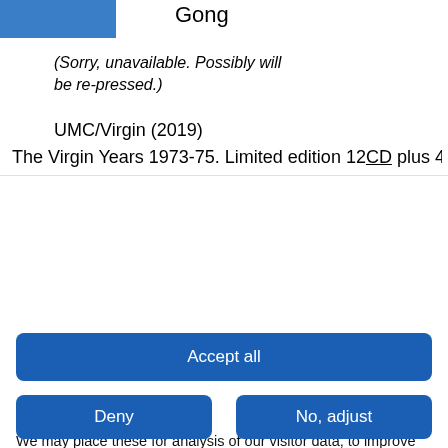[Figure (photo): Album cover thumbnail image with blue color]
Gong
(Sorry, unavailable. Possibly will be re-pressed.)
UMC/Virgin (2019)
The Virgin Years 1973-75. Limited edition 12CD plus 4DVD box set with a 64 page hardback illustrated booklet...
Privacy policy
We use cookies
We may place these for analysis of our visitor data, to improve our website, show personalised content and to give you a great website experience. For more information about the cookies we use open the settings.
Accept all
Deny
No, adjust